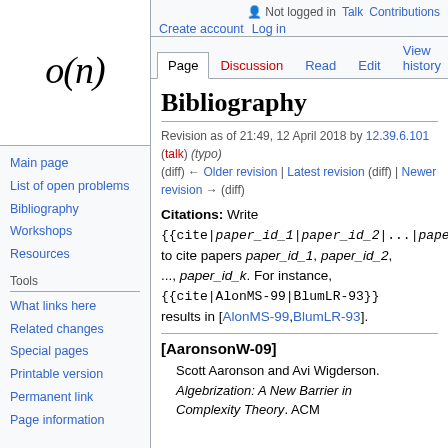[Figure (illustration): Wikipedia-style sidebar logo showing italic o(n) text in serif font]
Main page
List of open problems
Bibliography
Workshops
Resources
Tools
What links here
Related changes
Special pages
Printable version
Permanent link
Page information
Not logged in  Talk  Contributions  Create account  Log in
Page  Discussion  Read  Edit  View history  Search Oper
Bibliography
Revision as of 21:49, 12 April 2018 by 12.39.6.101 (talk) (typo) (diff) ← Older revision | Latest revision (diff) | Newer revision → (diff)
Citations: Write {{cite|paper_id_1|paper_id_2|...|paper to cite papers paper_id_1, paper_id_2, ..., paper_id_k. For instance, {{cite|AlonMS-99|BlumLR-93}} results in [AlonMS-99,BlumLR-93].
[AaronsonW-09]
Scott Aaronson and Avi Wigderson. Algebrization: A New Barrier in Complexity Theory. ACM